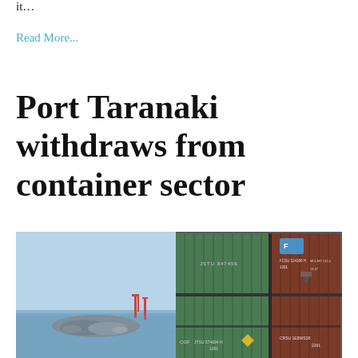it…
Read More...
Port Taranaki withdraws from container sector
[Figure (photo): Composite image: left side shows a port with rocky breakwater and cranes in the sea under a blue sky; right side shows stacked shipping containers including green and red/brown containers with various markings.]